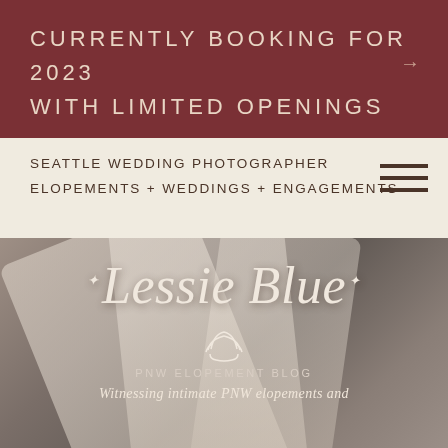CURRENTLY BOOKING FOR 2023 WITH LIMITED OPENINGS
SEATTLE WEDDING PHOTOGRAPHER ELOPEMENTS + WEDDINGS + ENGAGEMENTS
[Figure (photo): Close-up photo of cream/ivory wedding shoes or books arranged diagonally, used as hero background image for Lessie Blue photography blog]
Lessie Blue
PNW ELOPEMENT BLOG
Witnessing intimate PNW elopements and